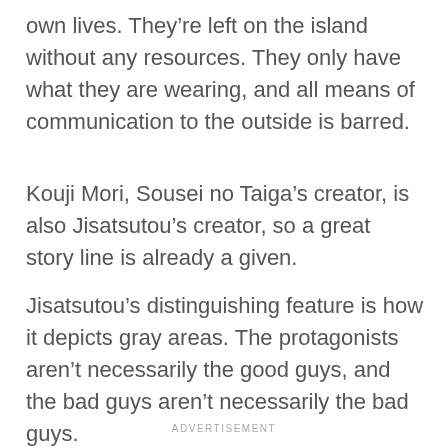own lives. They're left on the island without any resources. They only have what they are wearing, and all means of communication to the outside is barred.
Kouji Mori, Sousei no Taiga's creator, is also Jisatsutou's creator, so a great story line is already a given.
Jisatsutou's distinguishing feature is how it depicts gray areas. The protagonists aren't necessarily the good guys, and the bad guys aren't necessarily the bad guys.
ADVERTISEMENT